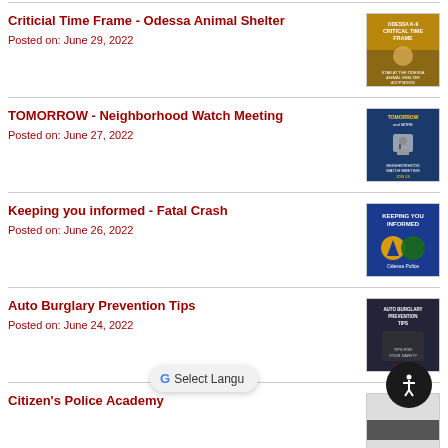Criticial Time Frame - Odessa Animal Shelter
Posted on: June 29, 2022
TOMORROW - Neighborhood Watch Meeting
Posted on: June 27, 2022
Keeping you informed - Fatal Crash
Posted on: June 26, 2022
Auto Burglary Prevention Tips
Posted on: June 24, 2022
Citizen's Police Academy